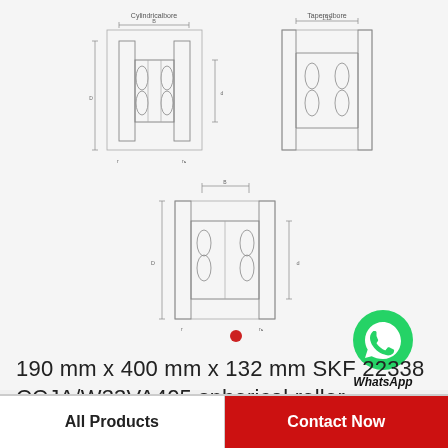[Figure (engineering-diagram): Technical cross-section diagrams of SKF 22338 CCJA/W33VA405 spherical roller bearings. Top row shows two variants: Cylindricalbore (left) and Taperedbore (right). Bottom center shows a third view of the bearing cross-section. Diagrams include dimension annotation lines labeled with letters.]
[Figure (logo): WhatsApp green circle logo icon with white phone handset graphic]
WhatsApp Online
190 mm x 400 mm x 132 mm SKF 22338 CCJA/W33VA405 spherical roller bearings
All Products | Contact Now